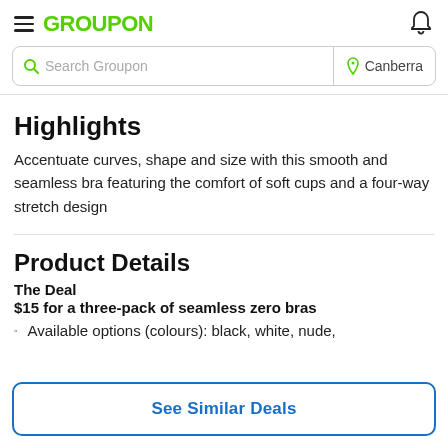GROUPON
Search Groupon | Canberra
Highlights
Accentuate curves, shape and size with this smooth and seamless bra featuring the comfort of soft cups and a four-way stretch design
Product Details
The Deal
$15 for a three-pack of seamless zero bras
Available options (colours): black, white, nude,
See Similar Deals